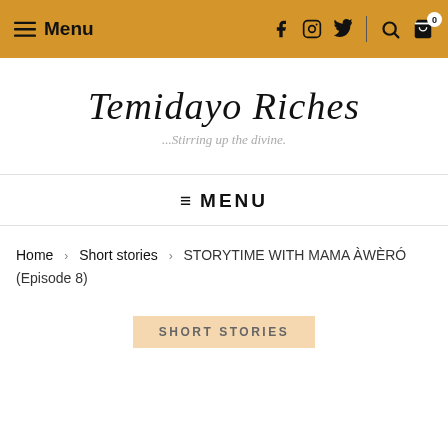≡ Menu  [icons: facebook, instagram, twitter, search, cart 0]
Temidayo Riches
...Stirring up the divine.
≡ MENU
Home > Short stories > STORYTIME WITH MAMA ÀWÈRÓ (Episode 8)
SHORT STORIES